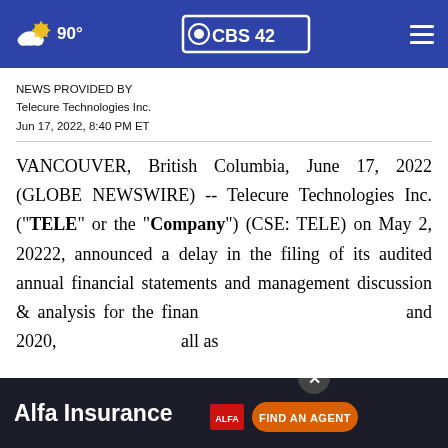90° CBS42
NEWS PROVIDED BY
Telecure Technologies Inc.
Jun 17, 2022, 8:40 PM ET
VANCOUVER, British Columbia, June 17, 2022 (GLOBE NEWSWIRE) -- Telecure Technologies Inc. (“TELE” or the “Company”) (CSE: TELE) on May 2, 20222, announced a delay in the filing of its audited annual financial statements and management discussion & analysis for the financial and 2020, and the CEO and CFO certificates, all as
[Figure (screenshot): Alfa Insurance advertisement banner with 'FIND AN AGENT' button]